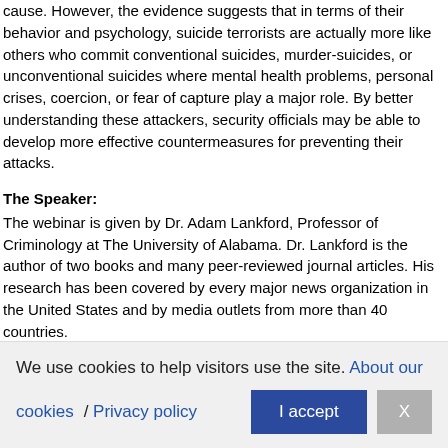cause. However, the evidence suggests that in terms of their behavior and psychology, suicide terrorists are actually more like others who commit conventional suicides, murder-suicides, or unconventional suicides where mental health problems, personal crises, coercion, or fear of capture play a major role. By better understanding these attackers, security officials may be able to develop more effective countermeasures for preventing their attacks.
The Speaker:
The webinar is given by Dr. Adam Lankford, Professor of Criminology at The University of Alabama. Dr. Lankford is the author of two books and many peer-reviewed journal articles. His research has been covered by every major news organization in the United States and by media outlets from more than 40 countries.
We use cookies to help visitors use the site. About our cookies / Privacy policy